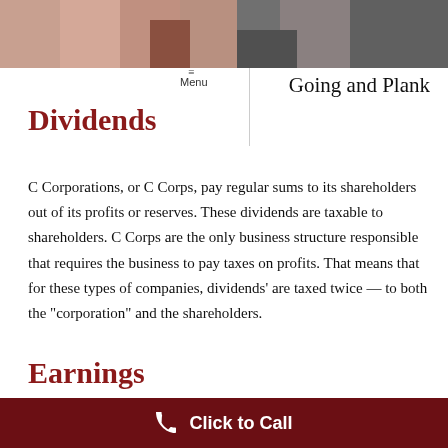[Figure (photo): Two people in a meeting/office setting, cropped photo banner at top of page]
Going and Plank
Dividends
C Corporations, or C Corps, pay regular sums to its shareholders out of its profits or reserves. These dividends are taxable to shareholders. C Corps are the only business structure responsible that requires the business to pay taxes on profits. That means that for these types of companies, dividends' are taxed twice — to both the "corporation" and the shareholders.
Earnings
This is a business's after-tax net income, also called profits. Earnings are usually the most significant
Click to Call